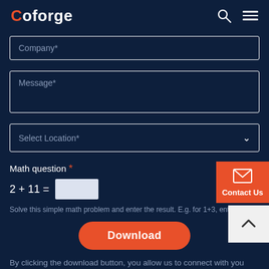[Figure (logo): Coforge logo with orange C and white text on dark navy background]
Company*
Message*
Select Location*
Math question *
2 + 11 = [input box]
Solve this simple math problem and enter the result. E.g. for 1+3, enter 4.
Download
By clicking the download button, you allow us to connect with you using email, phone or post (as provided) for responding to you and for
Contact Us